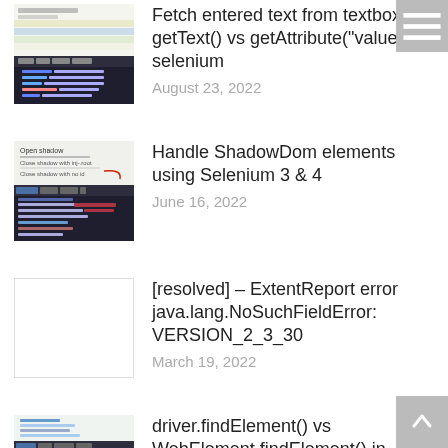[Figure (screenshot): Screenshot of a textbox/input element with colored horizontal bands]
Fetch entered text from textbox – getText() vs getAttribute("value") in selenium
August 23, 2022
[Figure (screenshot): Screenshot of browser dev tools showing ShadowDom elements with ShadowRoot highlighted]
Handle ShadowDom elements using Selenium 3 & 4
June 16, 2022
[Figure (screenshot): Blank/white placeholder image]
[resolved] – ExtentReport error java.lang.NoSuchFieldError: VERSION_2_3_30
March 19, 2022
[Figure (screenshot): Screenshot of browser dev tools showing element inspector]
driver.findElement() vs WebElement.findElement() in